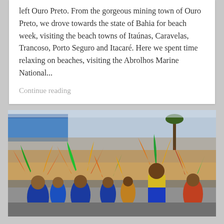left Ouro Preto. From the gorgeous mining town of Ouro Preto, we drove towards the state of Bahia for beach week, visiting the beach towns of Itaúnas, Caravelas, Trancoso, Porto Seguro and Itacaré. Here we spent time relaxing on beaches, visiting the Abrolhos Marine National...
Continue reading
[Figure (photo): A vibrant carnival parade scene with performers wearing colorful feathered costumes in blue, yellow, orange, and green. Many dancers are visible in elaborate outfits, with a blue tarp tent and palm trees visible in the background.]